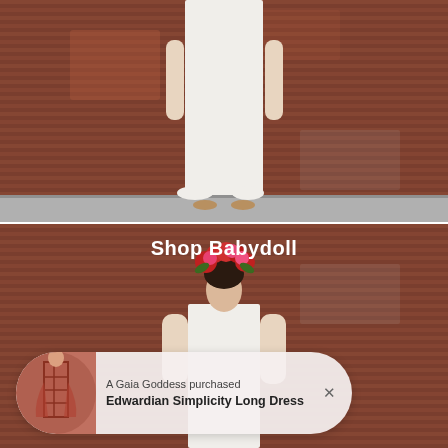[Figure (photo): Woman in long white dress standing against a corrugated metal rust-colored wall, viewed from mid-torso down, wearing sandals]
[Figure (photo): Woman with flower crown (red and pink flowers) in white dress against corrugated rust-colored metal wall with 'Shop Babydoll' text overlay and a purchase notification popup showing 'A Gaia Goddess purchased Edwardian Simplicity Long Dress']
Shop Babydoll
A Gaia Goddess purchased
Edwardian Simplicity Long Dress